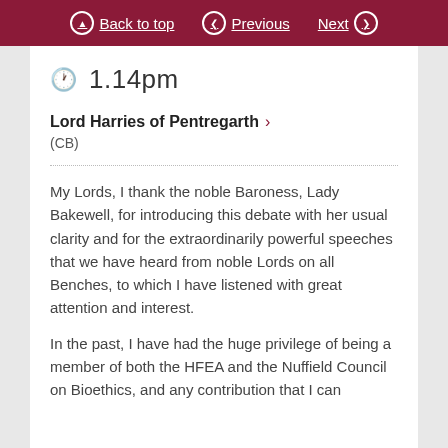Back to top | Previous | Next
1.14pm
Lord Harries of Pentregarth
(CB)
My Lords, I thank the noble Baroness, Lady Bakewell, for introducing this debate with her usual clarity and for the extraordinarily powerful speeches that we have heard from noble Lords on all Benches, to which I have listened with great attention and interest.
In the past, I have had the huge privilege of being a member of both the HFEA and the Nuffield Council on Bioethics, and any contribution that I can